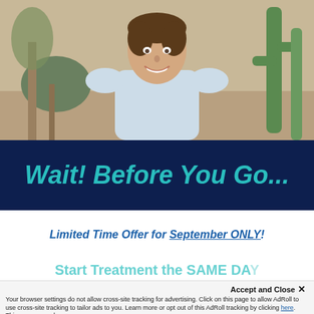[Figure (photo): Outdoor photo of a smiling young man with brown hair wearing a light blue t-shirt, with desert plants including a tall cactus in the background]
Wait! Before You Go...
Limited Time Offer for September ONLY!
Start Treatment the SAME DAY
Accept and Close ×
Your browser settings do not allow cross-site tracking for advertising. Click on this page to allow AdRoll to use cross-site tracking to tailor ads to you. Learn more or opt out of this AdRoll tracking by clicking here. This message only appears once.